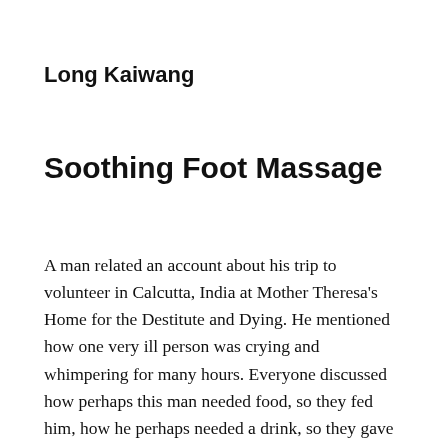Long Kaiwang
Soothing Foot Massage
A man related an account about his trip to volunteer in Calcutta, India at Mother Theresa's Home for the Destitute and Dying. He mentioned how one very ill person was crying and whimpering for many hours. Everyone discussed how perhaps this man needed food, so they fed him, how he perhaps needed a drink, so they gave him water and juices; how he needed something to do, to help